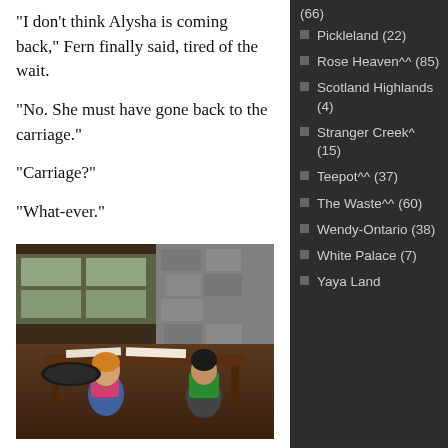“I don’t think Alysha is coming back,” Fern finally said, tired of the wait.
“No. She must have gone back to the carriage.”
“Carriage?”
“What-ever.”
[Figure (screenshot): 3D virtual world screenshot showing two avatar characters seated at a wooden table inside a stone building with windows]
Lumbering Big Red sitting nude with his big ass parked on the piano bench over
(66)
Pickleland (22)
Rose Heaven^^ (85)
Scotland Highlands (4)
Stranger Creek^ (15)
Teepot^^ (37)
The Waste^^ (60)
Wendy-Ontario (38)
White Palace (7)
Yaya Land